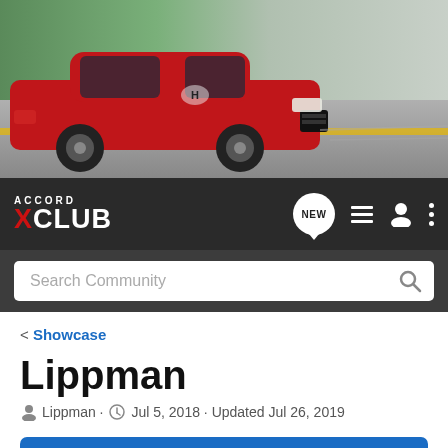[Figure (photo): Red Honda Accord sedan driving on a road with greenery in the background, banner image for the Accord X Club website]
[Figure (screenshot): Accord X Club navigation bar with logo, NEW chat bubble icon, list icon, user icon, and three-dots menu icon on dark background]
[Figure (screenshot): Dark search bar with 'Search Community' placeholder text and magnifying glass icon]
< Showcase
Lippman
Lippman · Jul 5, 2018 · Updated Jul 26, 2019
+ Follow